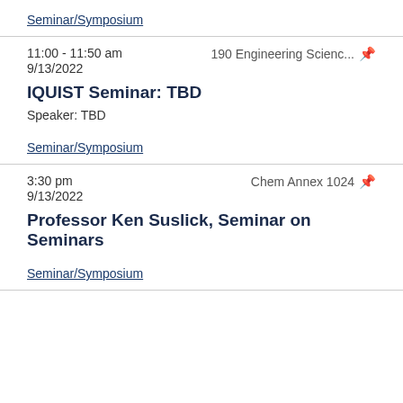Seminar/Symposium
11:00 - 11:50 am   190 Engineering Scienc...   9/13/2022
IQUIST Seminar: TBD
Speaker: TBD
Seminar/Symposium
3:30 pm   Chem Annex 1024   9/13/2022
Professor Ken Suslick, Seminar on Seminars
Seminar/Symposium